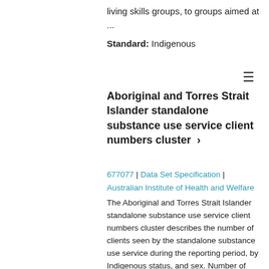living skills groups, to groups aimed at
...
Standard: Indigenous
Aboriginal and Torres Strait Islander standalone substance use service client numbers cluster ›
677077 | Data Set Specification | Australian Institute of Health and Welfare
The Aboriginal and Torres Strait Islander standalone substance use service client numbers cluster describes the number of clients seen by the standalone substance use service during the reporting period, by Indigenous status, and sex. Number of clients Male Female Total Aboriginal or Torres Strait Islander